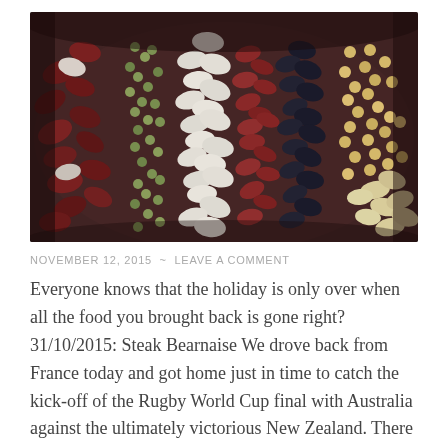[Figure (photo): Close-up overhead photo of a large bowl or pot filled with a colorful mixture of various dried beans and legumes — including red kidney beans, black beans, white beans, green split peas, yellow lentils, and small red beans arranged in a rainbow-like pattern.]
NOVEMBER 12, 2015  ~  LEAVE A COMMENT
Everyone knows that the holiday is only over when all the food you brought back is gone right? 31/10/2015: Steak Bearnaise We drove back from France today and got home just in time to catch the kick-off of the Rugby World Cup final with Australia against the ultimately victorious New Zealand. There wasn't time for it … Continue reading